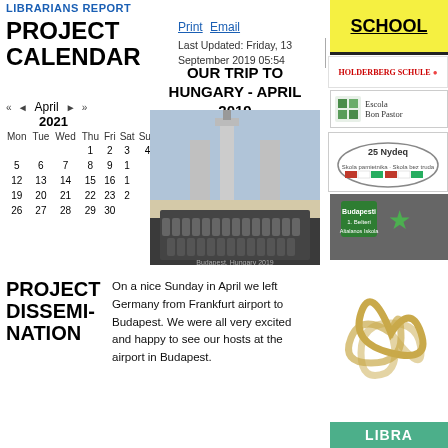LIBRARIANS REPORT
PROJECT CALENDAR
Print  Email
Last Updated: Friday, 13 September 2019 05:54
[Figure (other): SCHOOL banner in yellow]
[Figure (logo): Holderberg Schule logo with red text]
[Figure (logo): Escola Bon Pastor logo with green icon]
[Figure (logo): 25 Nydeg school badge with Czech and Polish flags]
[Figure (logo): Budapest school logo on grey background]
◄◄ ◄ April ► ►►
2021
| Mon | Tue | Wed | Thu | Fri | Sat | Sun |
| --- | --- | --- | --- | --- | --- | --- |
|  |  |  | 1 | 2 | 3 | 4 |
| 5 | 6 | 7 | 8 | 9 | 10 | 11 |
| 12 | 13 | 14 | 15 | 16 | 17 | 18 |
| 19 | 20 | 21 | 22 | 23 | 24 | 25 |
| 26 | 27 | 28 | 29 | 30 |  |  |
OUR TRIP TO HUNGARY - APRIL 2019
[Figure (photo): Group of students and teachers posing in front of a monument in Budapest, Hungary]
PROJECT DISSEMINATION
On a nice Sunday in April we left Germany from Frankfurt airport to Budapest. We were all very excited and happy to see our hosts at the airport in Budapest.
[Figure (illustration): Golden Celtic knot / triskele decorative logo]
LIBRA